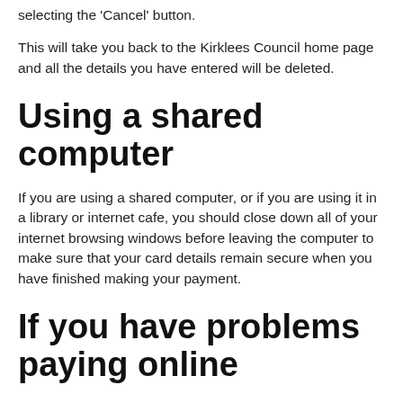selecting the 'Cancel' button.
This will take you back to the Kirklees Council home page and all the details you have entered will be deleted.
Using a shared computer
If you are using a shared computer, or if you are using it in a library or internet cafe, you should close down all of your internet browsing windows before leaving the computer to make sure that your card details remain secure when you have finished making your payment.
If you have problems paying online